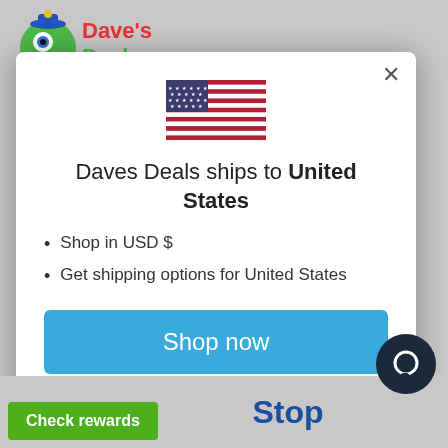[Figure (logo): Dave's Deals logo with green monster character, red and green text]
[Figure (illustration): US flag SVG icon]
Daves Deals ships to United States
Shop in USD $
Get shipping options for United States
Shop now
Change shipping country
Check rewards
Stop